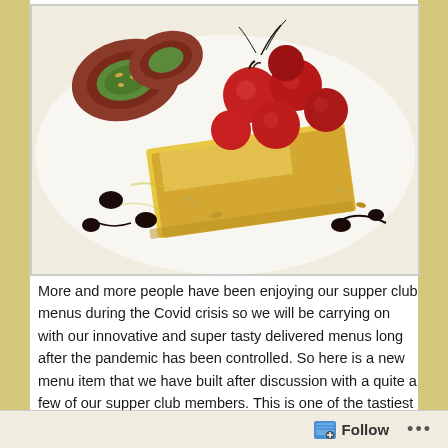[Figure (photo): A plated dish showing a meat roulade/roll with herb and nut filling (upper left), topped with roasted cherry tomatoes on a block of yellow polenta/cheese, drizzled with balsamic reduction and scattered with pine nuts on a white plate.]
More and more people have been enjoying our supper club menus during the Covid crisis so we will be carrying on with our innovative and super tasty delivered menus long after the pandemic has been controlled. So here is a new menu item that we have built after discussion with a quite a few of our supper club members. This is one of the tastiest meals we have cooked – jam packed with flavour